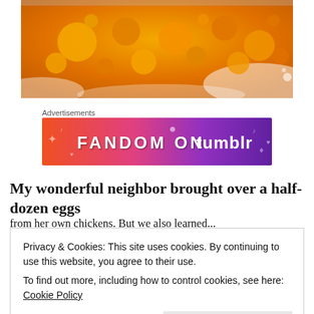[Figure (photo): Close-up photo of orange and yellow egg yolk being cooked, showing bubbling texture with white around the edges]
Advertisements
[Figure (other): Fandom on Tumblr advertisement banner with gradient orange to purple background and white text reading FANDOM ON tumblr]
My wonderful neighbor brought over a half-dozen eggs
from her own chickens. But we also learned...
Privacy & Cookies: This site uses cookies. By continuing to use this website, you agree to their use.
To find out more, including how to control cookies, see here: Cookie Policy
Close and accept
vegetable, and they smell and look good.  This is a typical